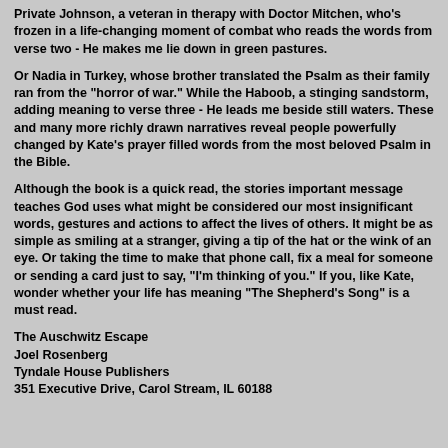Private Johnson, a veteran in therapy with Doctor Mitchen, who's frozen in a life-changing moment of combat who reads the words from verse two - He makes me lie down in green pastures.
Or Nadia in Turkey, whose brother translated the Psalm as their family ran from the "horror of war." While the Haboob, a stinging sandstorm, adding meaning to verse three - He leads me beside still waters. These and many more richly drawn narratives reveal people powerfully changed by Kate's prayer filled words from the most beloved Psalm in the Bible.
Although the book is a quick read, the stories important message teaches God uses what might be considered our most insignificant words, gestures and actions to affect the lives of others. It might be as simple as smiling at a stranger, giving a tip of the hat or the wink of an eye. Or taking the time to make that phone call, fix a meal for someone or sending a card just to say, "I'm thinking of you." If you, like Kate, wonder whether your life has meaning "The Shepherd's Song" is a must read.
The Auschwitz Escape
Joel Rosenberg
Tyndale House Publishers
351 Executive Drive, Carol Stream, IL 60188